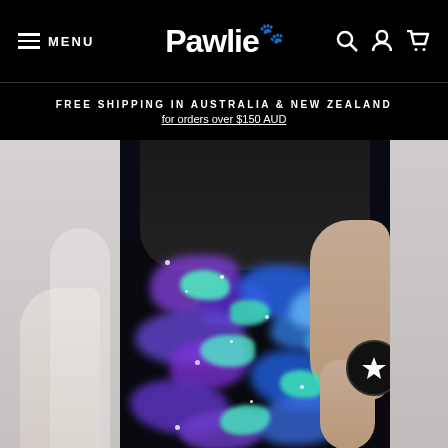MENU | Pawlie (logo) | Search, Account, Cart icons
FREE SHIPPING IN AUSTRALIA & NEW ZEALAND
for orders over $150 AUD
[Figure (photo): E-commerce website screenshot showing Pawlie brand page with model wearing colorful galaxy/splatter print leggings in purple, blue, and mint green on a dark background, with partial views of adjacent product images on left and right sides.]